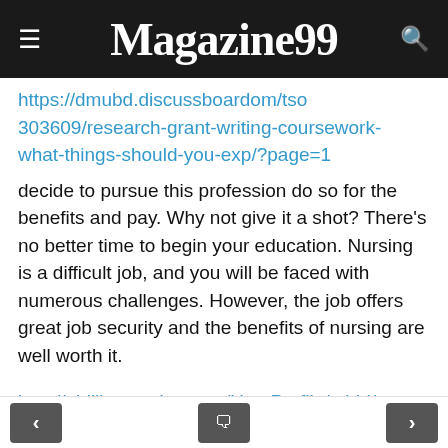Magazine99
https://dmubd.discussboardom/tso303609/research-grant-writing-coursework-what-things-should-you-exp/?page=1
decide to pursue this profession do so for the benefits and pay. Why not give it a shot? There's no better time to begin your education. Nursing is a difficult job, and you will be faced with numerous challenges. However, the job offers great job security and the benefits of nursing are well worth it.
http://phillipsservices.net/UserProfile/tabid/43/userId/133210/Default.aspx Nursing is a profession that requires caring people with